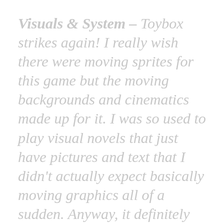Visuals & System – Toybox strikes again! I really wish there were moving sprites for this game but the moving backgrounds and cinematics made up for it. I was so used to play visual novels that just have pictures and text that I didn't actually expect basically moving graphics all of a sudden. Anyway, it definitely set the mood for the mystery and suspense for the game.
Music – The music was really pretty in this game and I was actually surprised